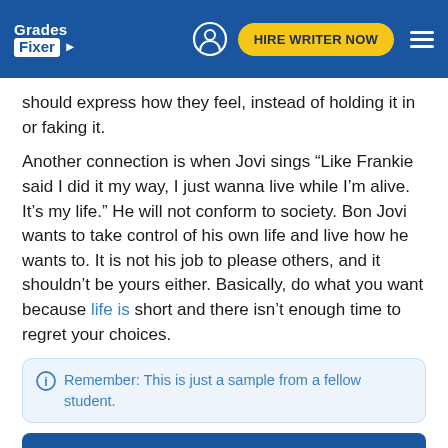Grades Fixer | HIRE WRITER NOW
should express how they feel, instead of holding it in or faking it.
Another connection is when Jovi sings “Like Frankie said I did it my way, I just wanna live while I’m alive. It’s my life.” He will not conform to society. Bon Jovi wants to take control of his own life and live how he wants to. It is not his job to please others, and it shouldn’t be yours either. Basically, do what you want because life is short and there isn’t enough time to regret your choices.
Remember: This is just a sample from a fellow student.
Your time is important. Let us write you an